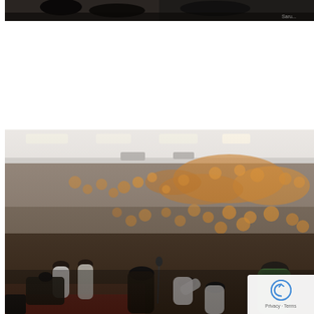[Figure (photo): A black and white photo showing people, partially cropped at the top of the page. A watermark reading 'Saru...' is visible in the lower right.]
[Figure (photo): A large indoor gathering/ceremony in a hall. Many attendees wearing orange traditional headwear fill the seats. Some people in white and green traditional attire are visible in the foreground. A reCAPTCHA privacy overlay appears in the bottom right corner.]